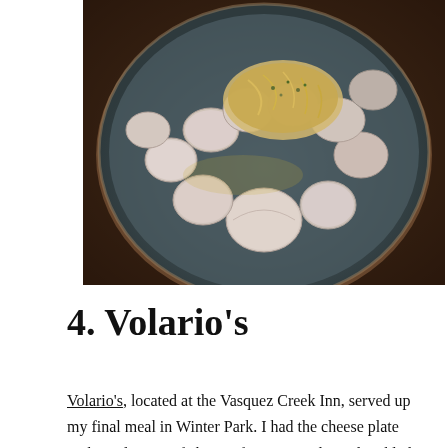[Figure (photo): A dark ceramic plate filled with open littleneck clams arranged around a center of pasta with herbs and sauce, photographed in warm dim restaurant lighting.]
4. Volario's
Volario's, located at the Vasquez Creek Inn, served up my final meal in Winter Park. I had the cheese plate with a selection of cheese, fruit mostarda, and pickled vegetable, plus Vongole (pasta served with littleneck